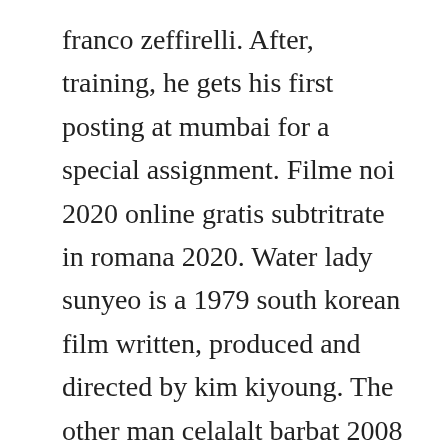franco zeffirelli. After, training, he gets his first posting at mumbai for a special assignment. Filme noi 2020 online gratis subtritrate in romana 2020. Water lady sunyeo is a 1979 south korean film written, produced and directed by kim kiyoung. The other man celalalt barbat 2008 film online subtitrat in romana gratis. I saw this in theaters and i found it to be very suspenseful. Set in the channel islands during ww2, it tells the story of two new zealand commandos who uncover a nazi plot to summon up a demon, using a